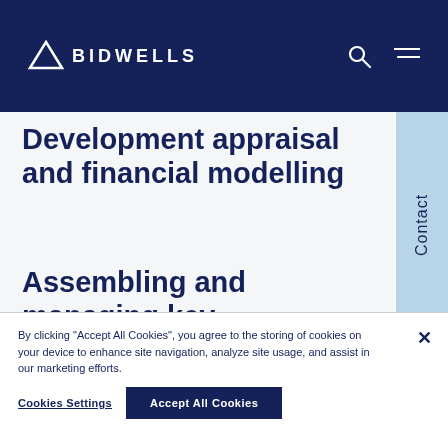BIDWELLS
Development appraisal and financial modelling
Assembling and managing key consultants
By clicking "Accept All Cookies", you agree to the storing of cookies on your device to enhance site navigation, analyze site usage, and assist in our marketing efforts.
Cookies Settings
Accept All Cookies